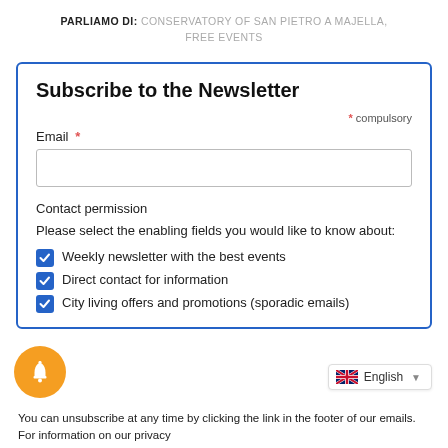PARLIAMO DI: CONSERVATORY OF SAN PIETRO A MAJELLA, FREE EVENTS
Subscribe to the Newsletter
* compulsory
Email *
Contact permission
Please select the enabling fields you would like to know about:
Weekly newsletter with the best events
Direct contact for information
City living offers and promotions (sporadic emails)
You can unsubscribe at any time by clicking the link in the footer of our emails. For information on our privacy